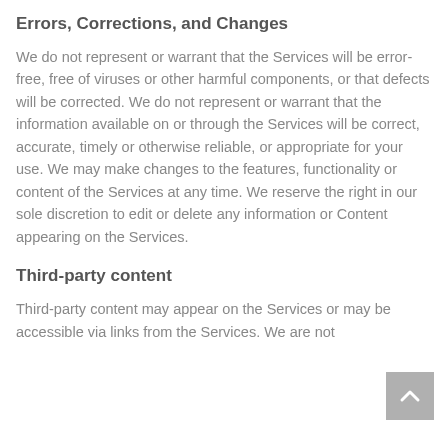Errors, Corrections, and Changes
We do not represent or warrant that the Services will be error-free, free of viruses or other harmful components, or that defects will be corrected. We do not represent or warrant that the information available on or through the Services will be correct, accurate, timely or otherwise reliable, or appropriate for your use. We may make changes to the features, functionality or content of the Services at any time. We reserve the right in our sole discretion to edit or delete any information or Content appearing on the Services.
Third-party content
Third-party content may appear on the Services or may be accessible via links from the Services. We are not